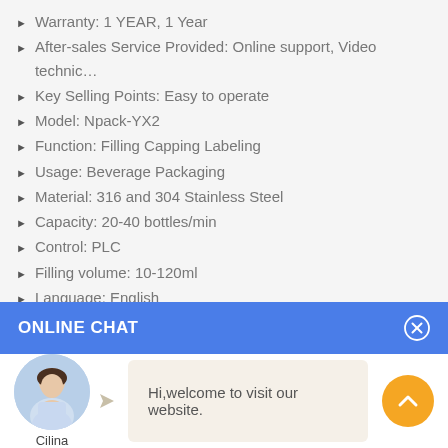Warranty: 1 YEAR, 1 Year
After-sales Service Provided: Online support, Video technic…
Key Selling Points: Easy to operate
Model: Npack-YX2
Function: Filling Capping Labeling
Usage: Beverage Packaging
Material: 316 and 304 Stainless Steel
Capacity: 20-40 bottles/min
Control: PLC
Filling volume: 10-120ml
Language: English
Service time: lifelong
Export to: Mozambique,Bolivia,Congo,Kuala Lumpur…
ONLINE CHAT
Hi,welcome to visit our website.
Cilina